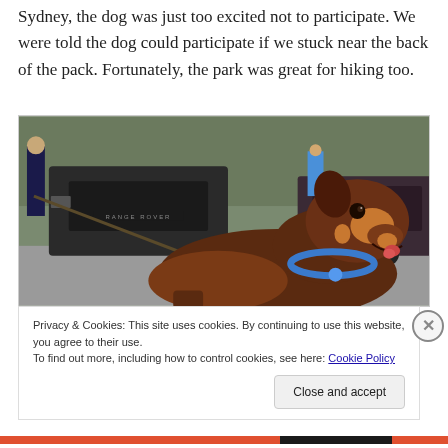Sydney, the dog was just too excited not to participate. We were told the dog could participate if we stuck near the back of the pack. Fortunately, the park was great for hiking too.
[Figure (photo): A brown and tan Doberman or similar dog on a leash in a parking lot, with a Range Rover and other cars visible in the background and people partially visible.]
Privacy & Cookies: This site uses cookies. By continuing to use this website, you agree to their use.
To find out more, including how to control cookies, see here: Cookie Policy
Close and accept